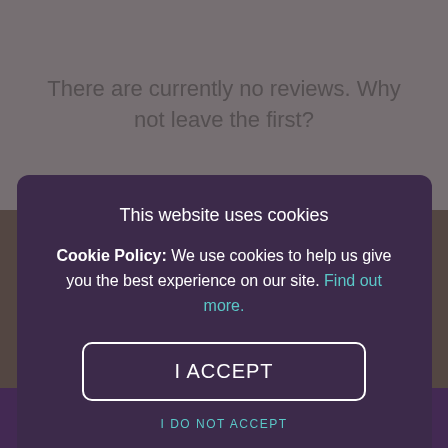There are currently no reviews. Why not leave the first?
[Figure (photo): Restaurant interior photo showing kitchen/dining area with warm amber tones]
This website uses cookies

Cookie Policy: We use cookies to help us give you the best experience on our site. Find out more.

I ACCEPT

I DO NOT ACCEPT
INFO AND BOOK